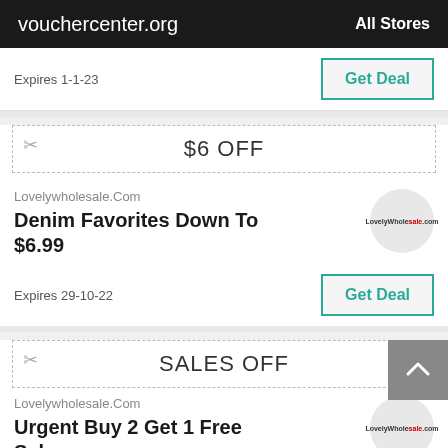vouchercenter.org   All Stores
Expires 1-1-23
Get Deal
$6 OFF
Lovelywholesale.Com
Denim Favorites Down To $6.99
Expires 29-10-22
Get Deal
SALES OFF
Lovelywholesale.Com
Urgent Buy 2 Get 1 Free Sale